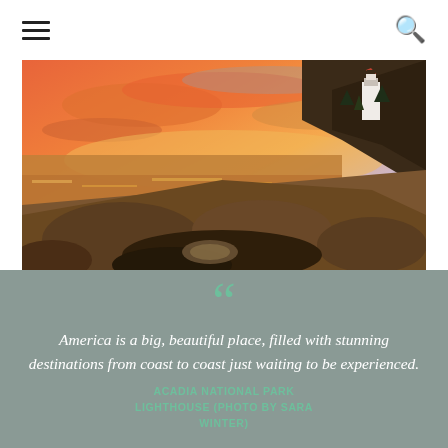≡  🔍
[Figure (photo): Sunset photograph of Acadia National Park Lighthouse on rocky coastline. Dramatic orange, red, and pink sky reflected in water. Lighthouse building visible on right hilltop with dark rocks and tide pools in foreground.]
America is a big, beautiful place, filled with stunning destinations from coast to coast just waiting to be experienced.
ACADIA NATIONAL PARK LIGHTHOUSE (PHOTO BY SARA WINTER)